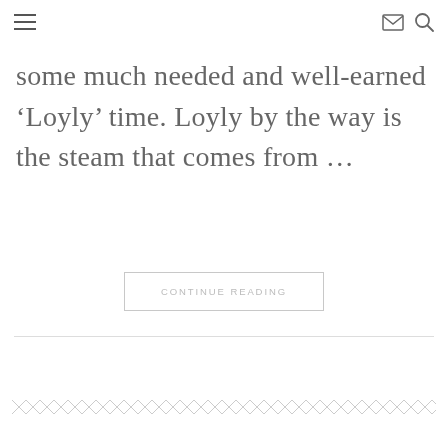☰  ✉ 🔍
some much needed and well-earned ‘Loyly’ time. Loyly by the way is the steam that comes from …
CONTINUE READING
[Figure (illustration): Decorative repeating chevron/zigzag border pattern in light gray]